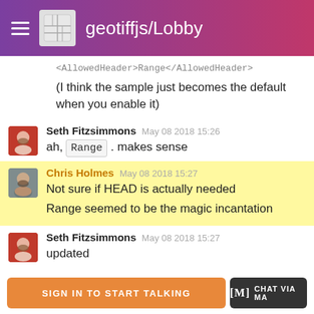geotiffjs/Lobby
<AllowedHeader>Range</AllowedHeader>
(I think the sample just becomes the default when you enable it)
Seth Fitzsimmons  May 08 2018 15:26
ah, Range . makes sense
Chris Holmes  May 08 2018 15:27
Not sure if HEAD is actually needed
Range seemed to be the magic incantation
Seth Fitzsimmons  May 08 2018 15:27
updated
Fabian Schindler  May 08 2018 15:29
Okay, it works if you use https: